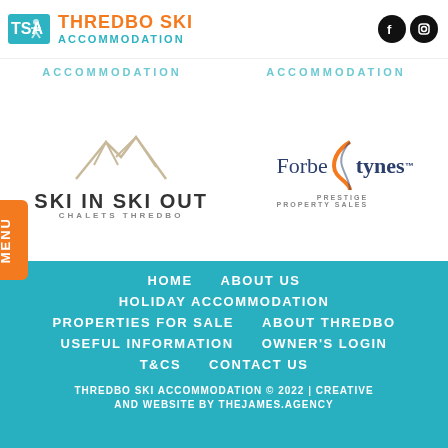TSA THREDBO SKI ACCOMMODATION
[Figure (logo): Ski In Ski Out Chalets Thredbo logo with mountain silhouette]
[Figure (logo): Forbestynes Prestige Property Sales logo with swoosh S design]
HOME
ABOUT US
HOLIDAY ACCOMMODATION
PROPERTIES FOR SALE
ABOUT THREDBO
USEFUL INFORMATION
OWNER'S LOGIN
T&CS
CONTACT US
THREDBO SKI ACCOMMODATION © 2022 | CREATIVE AND WEBSITE BY THEJAMES.AGENCY